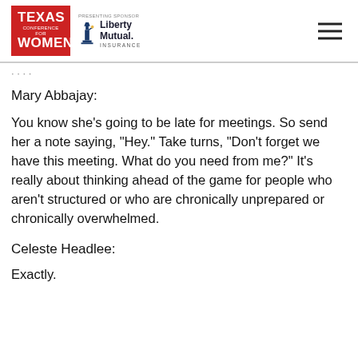[Figure (logo): Texas Conference for Women logo (red background, white text) with Liberty Mutual Insurance presenting sponsor logo and hamburger menu icon]
Mary Abbajay:
You know she’s going to be late for meetings. So send her a note saying, “Hey.” Take turns, “Don’t forget we have this meeting. What do you need from me?” It’s really about thinking ahead of the game for people who aren’t structured or who are chronically unprepared or chronically overwhelmed.
Celeste Headlee:
Exactly.